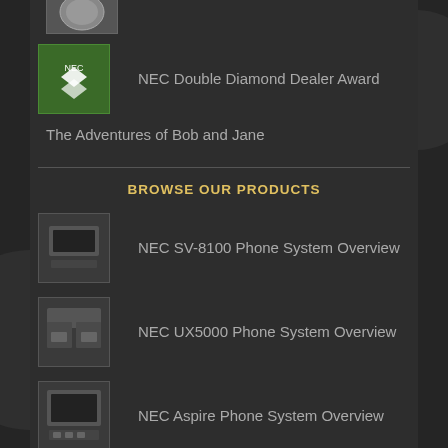[Figure (photo): Circular award badge thumbnail (partially visible at top)]
NEC Double Diamond Dealer Award
The Adventures of Bob and Jane
BROWSE OUR PRODUCTS
NEC SV-8100 Phone System Overview
NEC UX5000 Phone System Overview
NEC Aspire Phone System Overview
FROM OUR TWITTER